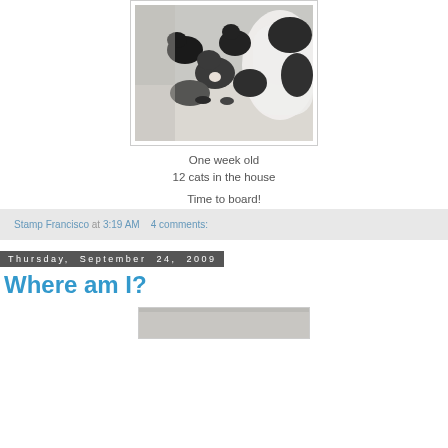[Figure (photo): Photo of newborn kittens, mostly black and grey, nursing or huddled together on white bedding with a black and white adult cat visible on the right side.]
One week old
12 cats in the house

Time to board!
Stamp Francisco at 3:19 AM    4 comments:
Thursday, September 24, 2009
Where am I?
[Figure (photo): Bottom partial image, cropped]